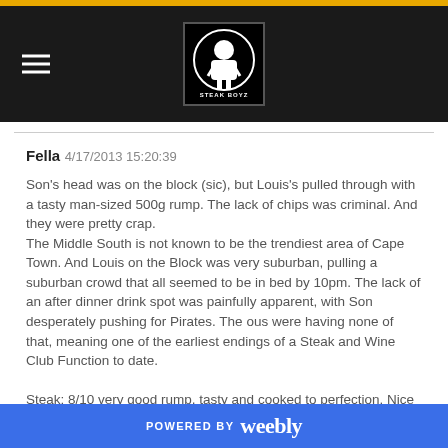[Figure (logo): Steak Boyz logo in black box with navigation bar hamburger menu]
Fella   4/17/2013 15:20:39
Son's head was on the block (sic), but Louis's pulled through with a tasty man-sized 500g rump. The lack of chips was criminal. And they were pretty crap.
The Middle South is not known to be the trendiest area of Cape Town. And Louis on the Block was very suburban, pulling a suburban crowd that all seemed to be in bed by 10pm. The lack of an after dinner drink spot was painfully apparent, with Son desperately pushing for Pirates. The ous were having none of that, meaning one of the earliest endings of a Steak and Wine Club Function to date.

Steak: 8/10 very good rump, tasty and cooked to perfection. Nice mustard sauce.
Sides: 2/5 - oily onions, min chips
POWERED BY weebly